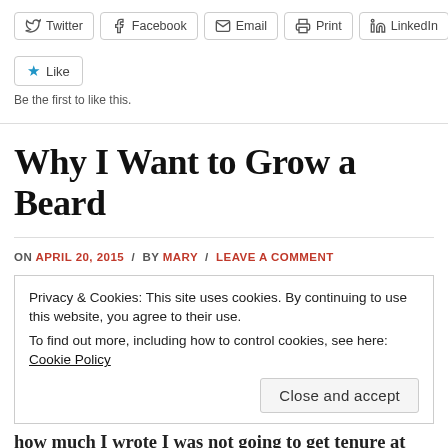[Figure (other): Social sharing buttons: Twitter, Facebook, Email, Print, LinkedIn]
[Figure (other): Like button with blue star icon]
Be the first to like this.
Why I Want to Grow a Beard
ON APRIL 20, 2015 / BY MARY / LEAVE A COMMENT
Privacy & Cookies: This site uses cookies. By continuing to use this website, you agree to their use.
To find out more, including how to control cookies, see here: Cookie Policy
[Figure (other): Close and accept button]
how much I wrote I was not going to get tenure at the